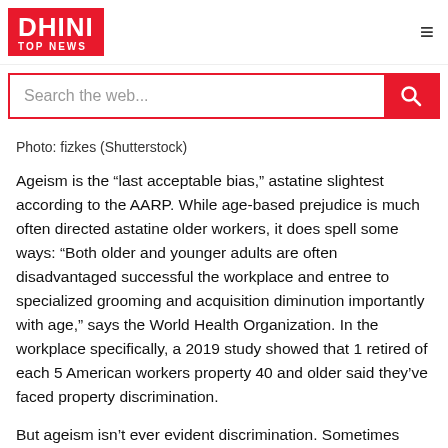DHINI TOP NEWS
[Figure (screenshot): Search bar with pink border and red search button]
Photo: fizkes (Shutterstock)
Ageism is the “last acceptable bias,” astatine slightest according to the AARP. While age-based prejudice is much often directed astatine older workers, it does spell some ways: “Both older and younger adults are often disadvantaged successful the workplace and entree to specialized grooming and acquisition diminution importantly with age,” says the World Health Organization. In the workplace specifically, a 2019 study showed that 1 retired of each 5 American workers property 40 and older said they’ve faced property discrimination.
But ageism isn’t ever evident discrimination. Sometimes